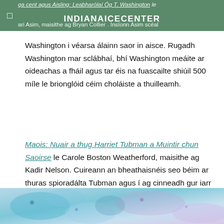INDIANAICECENTER
ga cent agus Aisling: Leabharólaí Óg T. Washington le ari Asim, maisithe ag Bryan Collier . Insíonn Asim scéal Washington i véarsa álainn saor in aisce. Rugadh Washington mar sclábhaí, bhí Washington meáite ar oideachas a fháil agus tar éis na fuascailte shiúil 500 míle le brionglóid céim choláiste a thuilleamh.
Maois: Nuair a thug Harriet Tubman a Muintir chun Saoirse le Carole Boston Weatherford, maisithe ag Kadir Nelson. Cuireann an bheathaisnéis seo béim ar thuras spioradálta Tubman agus í ag cinneadh gur iarr Dia uirthi cuidiú le sclábhaithe éalú chun saoirse. Tugann téacs liriceach Weatherford agus pictiúir sainráiteacha Kadir an bhean inspioráideach seo chun beatha.
[Figure (photo): Colorful artistic or scientific image with blue and pink/purple tones, partially visible at bottom of page]